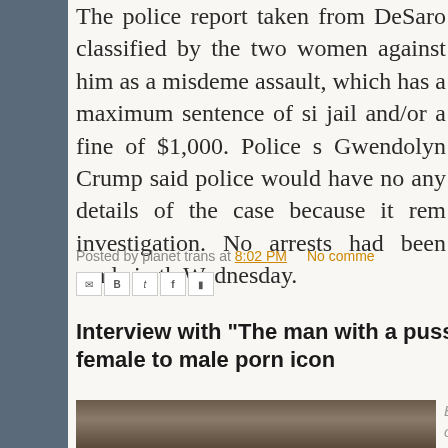The police report taken from DeSaro classified by the two women against him as a misdemeanor assault, which has a maximum sentence of six months jail and/or a fine of $1,000. Police spokesperson Gwendolyn Crump said police would have no comment on any details of the case because it remains under investigation. No arrests had been made in the case as of Wednesday.
Posted by planet trans at 8:02 PM   No comments:
[Figure (infographic): Social share icons: Email, BlogThis, Twitter, Facebook, Pinterest]
Interview with "The man with a pussy": Buck Angel, female to male porn icon
[Figure (photo): Photo of Buck Angel, a transgender man, in what appears to be a bar or lounge setting with screens visible in the background]
Buck on man wit